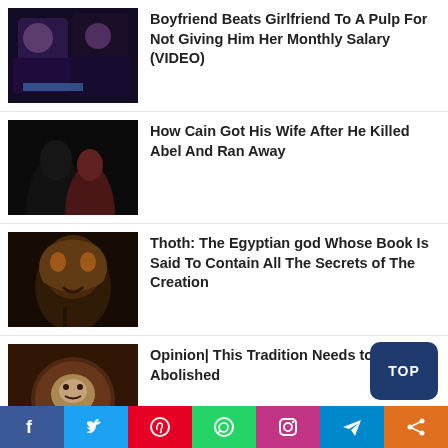[Figure (photo): Two people photo thumbnail for boyfriend beats girlfriend article]
Boyfriend Beats Girlfriend To A Pulp For Not Giving Him Her Monthly Salary (VIDEO)
[Figure (photo): Silhouettes of a couple, dark romantic image]
How Cain Got His Wife After He Killed Abel And Ran Away
[Figure (photo): Eagle-like Egyptian god figure illustration]
Thoth: The Egyptian god Whose Book Is Said To Contain All The Secrets of The Creation
[Figure (photo): Baby in a bowl of food, traditional practice]
Opinion| This Tradition Needs to Be Abolished